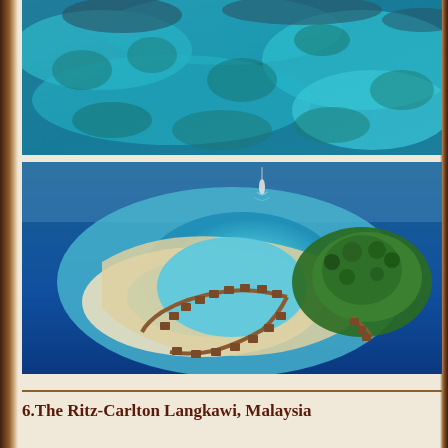[Figure (photo): Aerial view of turquoise tropical ocean water with coral reefs visible beneath the surface, showing various shades of blue and green]
[Figure (photo): Aerial view of a tropical island resort with overwater bungalows arranged in a curved pattern around a sandy atoll surrounded by turquoise water, with lush green vegetation on the main island portion]
6.The Ritz-Carlton Langkawi, Malaysia